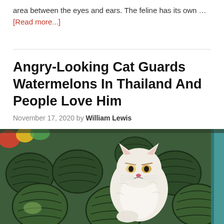area between the eyes and ears. The feline has its own … [Read more...]
Angry-Looking Cat Guards Watermelons In Thailand And People Love Him
November 17, 2020 by William Lewis
[Figure (photo): A white fluffy cat with an angry/grumpy expression sitting on top of a large pile of watermelons in what appears to be the back of a vehicle.]